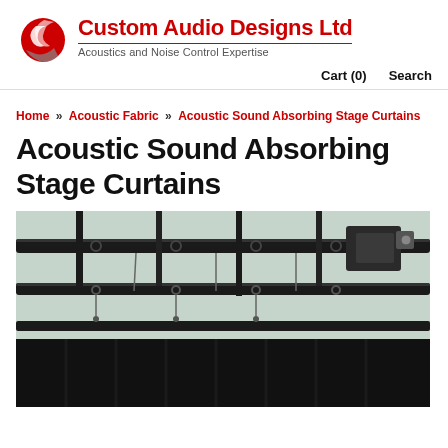Custom Audio Designs Ltd — Acoustics and Noise Control Expertise
Cart (0)   Search
Home » Acoustic Fabric » Acoustic Sound Absorbing Stage Curtains
Acoustic Sound Absorbing Stage Curtains
[Figure (photo): Close-up photograph of stage curtain rail hardware — black metal rods with rings and mounting brackets, with dark curtain fabric visible at the bottom]